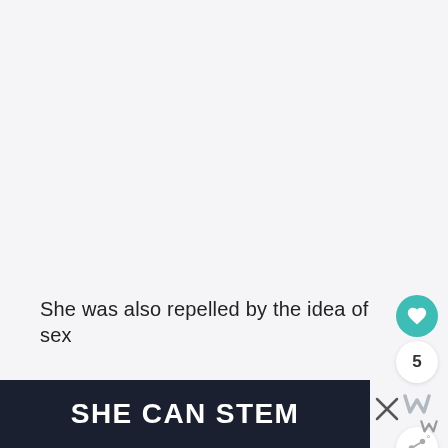[Figure (screenshot): Web page screenshot showing UI interaction buttons (heart/like button in teal with heart icon, count badge showing 5, W icon, share button) on the right side of a mostly white/light gray content area]
She was also repelled by the idea of sex
[Figure (other): Dark navy banner advertisement at bottom of page with bold white text reading SHE CAN STEM, with a close X button and a small W logo in the bottom right corner]